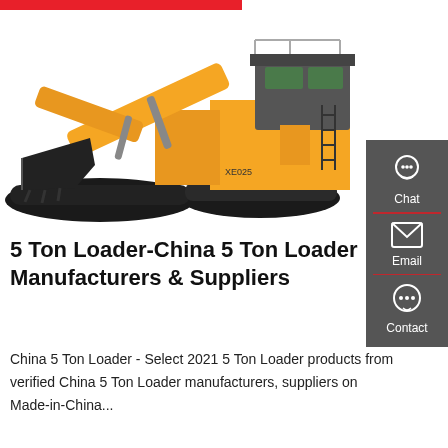[Figure (photo): Large yellow and black track-mounted excavator/loader machine on white background]
[Figure (infographic): Dark grey sidebar with Chat, Email, and Contact icon buttons]
5 Ton Loader-China 5 Ton Loader Manufacturers & Suppliers
China 5 Ton Loader - Select 2021 5 Ton Loader products from verified China 5 Ton Loader manufacturers, suppliers on Made-in-China...